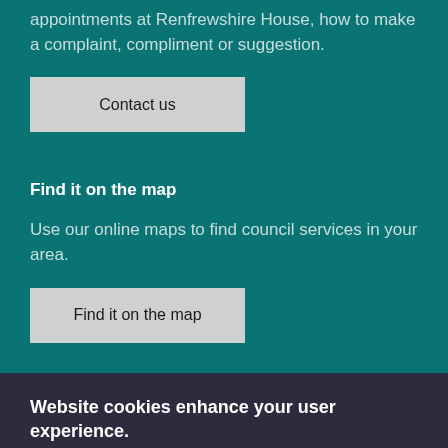appointments at Renfrewshire House, how to make a complaint, compliment or suggestion.
[Figure (other): Button labelled 'Contact us']
Find it on the map
Use our online maps to find council services in your area.
[Figure (other): Button labelled 'Find it on the map']
Website cookies enhance your user experience.
We use cookies to optimise site functionality and give you the best possible experience.